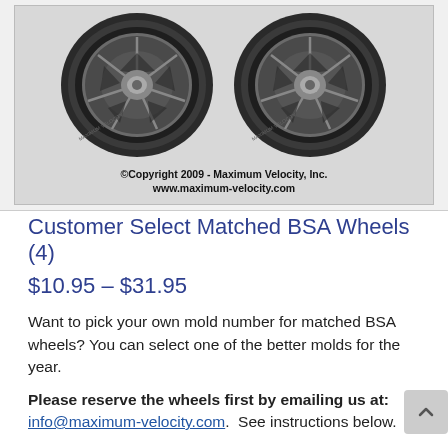[Figure (photo): Two BSA pinewood derby wheels shown side by side with decorative spoke pattern. Below the wheels the text reads '©Copyright 2009 - Maximum Velocity, Inc. www.maximum-velocity.com']
Customer Select Matched BSA Wheels (4)
$10.95 – $31.95
Want to pick your own mold number for matched BSA wheels? You can select one of the better molds for the year.
Please reserve the wheels first by emailing us at: info@maximum-velocity.com.  See instructions below.